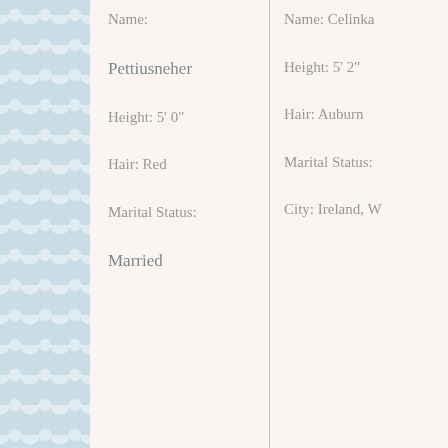Name:
Pettiusneher
Height: 5' 0"
Hair: Red
Marital Status:
Married
Name: Celinka
Height: 5' 2"
Hair: Auburn
Marital Status:
City: Ireland, W